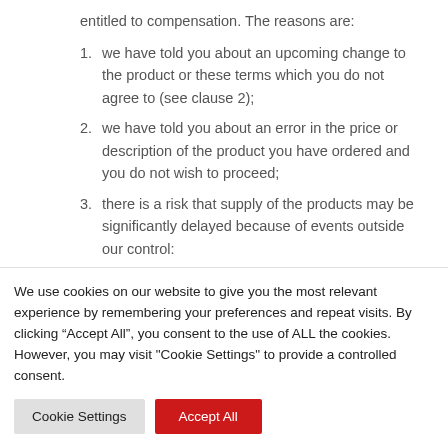entitled to compensation. The reasons are:
1. we have told you about an upcoming change to the product or these terms which you do not agree to (see clause 2);
2. we have told you about an error in the price or description of the product you have ordered and you do not wish to proceed;
3. there is a risk that supply of the products may be significantly delayed because of events outside our control:
We use cookies on our website to give you the most relevant experience by remembering your preferences and repeat visits. By clicking “Accept All”, you consent to the use of ALL the cookies. However, you may visit "Cookie Settings" to provide a controlled consent.